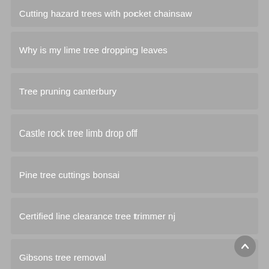Cutting hazard trees with pocket chainsaw
Why is my lime tree dropping leaves
Tree pruning canterbury
Castle rock tree limb drop off
Pine tree cuttings bonsai
Certified line clearance tree trimmer nj
Gibsons tree removal
Stump grinder hire rates
Oak tree mulch ring